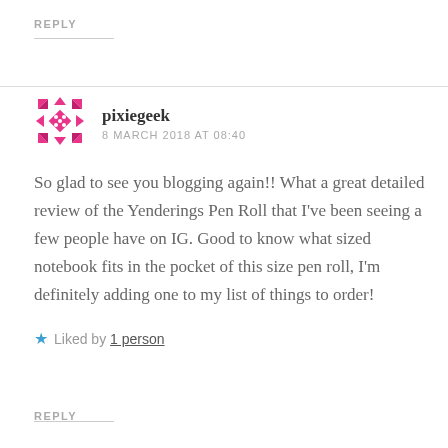REPLY
pixiegeek
8 MARCH 2018 AT 08:40
So glad to see you blogging again!! What a great detailed review of the Yenderings Pen Roll that I've been seeing a few people have on IG. Good to know what sized notebook fits in the pocket of this size pen roll, I'm definitely adding one to my list of things to order!
Liked by 1 person
REPLY